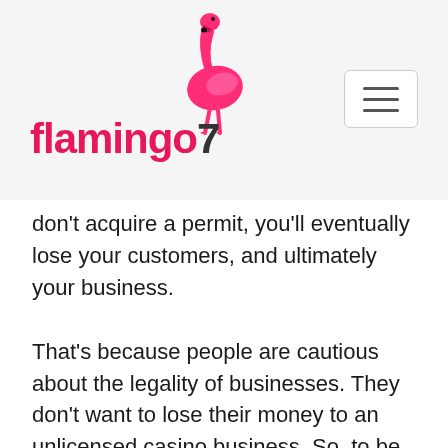[Figure (logo): Flamingo7 logo with pink flamingo bird illustration above the text 'flamingo7' in pink/magenta color]
don't acquire a permit, you'll eventually lose your customers, and ultimately your business.
That's because people are cautious about the legality of businesses. They don't want to lose their money to an unlicensed casino business. So, to be on the safer side, take the time and budget to get a license for your business. Some casino software developers include a license in their package. It's good to have established software companies credit your casino. It can help you get more customers and boost your income.
However, acquiring the license for your business is not as simple as it sounds. First, you have to know your country or state permits gambling. If they don't, you